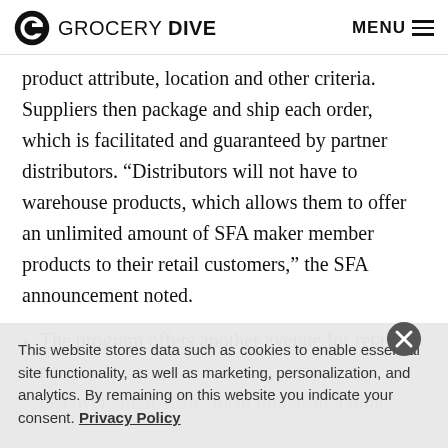GROCERY DIVE  MENU
product attribute, location and other criteria. Suppliers then package and ship each order, which is facilitated and guaranteed by partner distributors. “Distributors will not have to warehouse products, which allows them to offer an unlimited amount of SFA maker member products to their retail customers,” the SFA announcement noted.
The program offers another avenue for retailers to discover small-scale, local brands at a time when many
This website stores data such as cookies to enable essential site functionality, as well as marketing, personalization, and analytics. By remaining on this website you indicate your consent. Privacy Policy